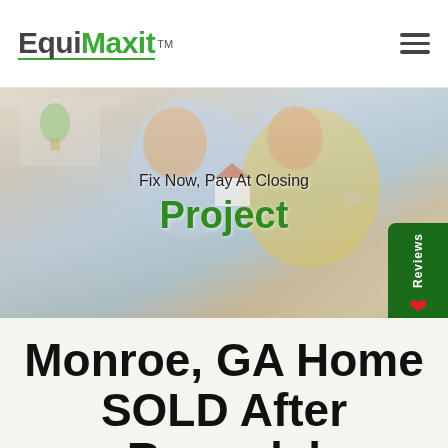[Figure (logo): EquiMaxit logo with green roof icon and trademark symbol, underlined in green]
[Figure (photo): Hero banner showing a smiling couple holding a small house model and keys, with overlay text 'Fix Now, Pay At Closing' and 'Project' in green bold text. A Reviews tab with heart icon on the right side.]
Monroe, GA Home SOLD After Remodel